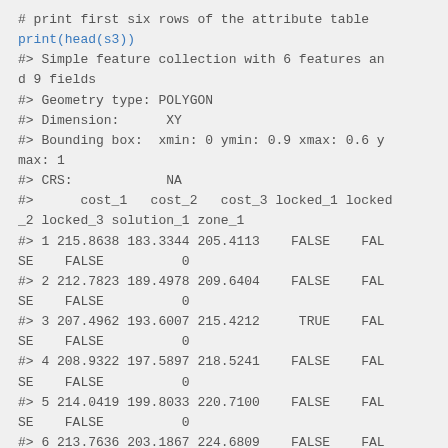[Figure (screenshot): Code block showing R console output: print(head(s3)) command and its output displaying a simple feature collection with 6 features and 9 fields, geometry type POLYGON, dimension XY, bounding box, CRS NA, and a table of cost_1, cost_2, cost_3, locked_1, locked_2, locked_3, solution_1, zone_1 columns with 6 rows of data.]